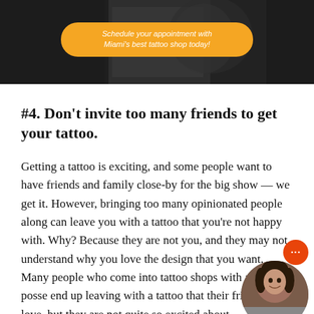[Figure (photo): Dark hero image of a tattoo shop scene with a yellow CTA button overlay reading 'Schedule your appointment with Miami's best tattoo shop today!']
#4. Don't invite too many friends to get your tattoo.
Getting a tattoo is exciting, and some people want to have friends and family close-by for the big show — we get it. However, bringing too many opinionated people along can leave you with a tattoo that you're not happy with. Why? Because they are not you, and they may not understand why you love the design that you want. Many people who come into tattoo shops with a large posse end up leaving with a tattoo that their friends may love, but they are not quite so excited about.